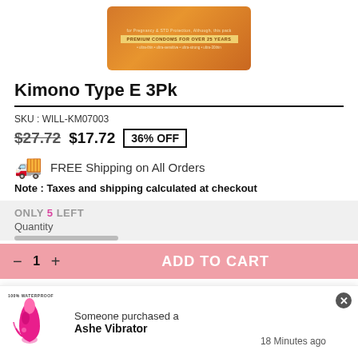[Figure (photo): Product image of Kimono Type E 3Pk condom box, orange colored packaging]
Kimono Type E 3Pk
SKU : WILL-KM07003
$27.72  $17.72  36% OFF
🚚 FREE Shipping on All Orders
Note : Taxes and shipping calculated at checkout
ONLY 5 LEFT
Quantity
— 1 +  ADD TO CART
[Figure (photo): Popup notification showing pink Ashe Vibrator product with 100% waterproof badge]
Someone purchased a
Ashe Vibrator
18 Minutes ago